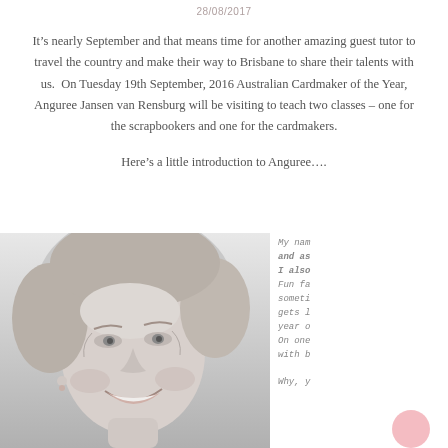28/08/2017
It’s nearly September and that means time for another amazing guest tutor to travel the country and make their way to Brisbane to share their talents with us.  On Tuesday 19th September, 2016 Australian Cardmaker of the Year, Anguree Jansen van Rensburg will be visiting to teach two classes – one for the scrapbookers and one for the cardmakers.
Here’s a little introduction to Anguree….
[Figure (photo): Black and white close-up portrait photo of a smiling woman with blonde hair]
My nam… and as… I also… Fun fa… someti… gets l… year o… On one… with b… Why, y…